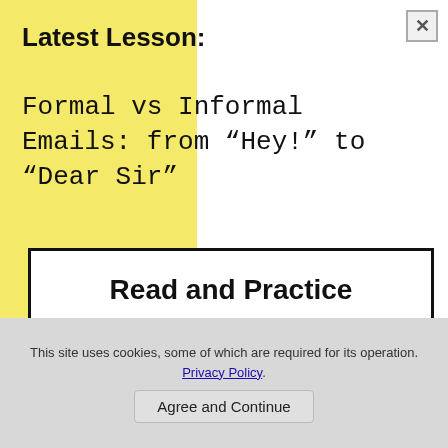Latest Lesson:
Formal vs Informal Emails: from “Hey!” to “Dear Sir”
Read and Practice
English Verb Tenses
Here you will find simple and easy explanations and many exercises on English verb tenses.
Learn English Parts of Speech - Explanations, Examples and Exercises
This site uses cookies, some of which are required for its operation. Privacy Policy.
Agree and Continue